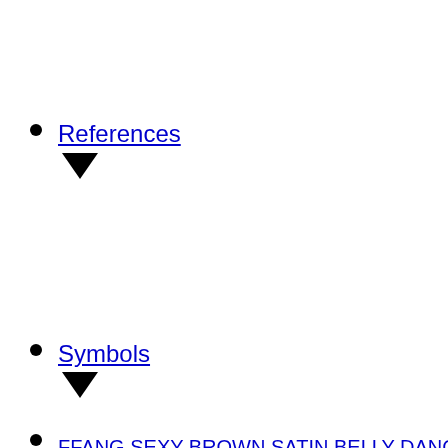References
Symbols
FFANG SEXY BROWN SATIN BELLY DANCING TOP